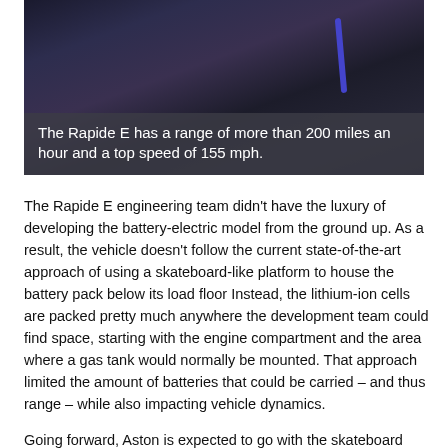[Figure (photo): Close-up photo of dark leather car interior with blue trim stripe, partially visible. Semi-transparent dark overlay at bottom contains caption text.]
The Rapide E has a range of more than 200 miles an hour and a top speed of 155 mph.
The Rapide E engineering team didn't have the luxury of developing the battery-electric model from the ground up. As a result, the vehicle doesn't follow the current state-of-the-art approach of using a skateboard-like platform to house the battery pack below its load floor Instead, the lithium-ion cells are packed pretty much anywhere the development team could find space, starting with the engine compartment and the area where a gas tank would normally be mounted. That approach limited the amount of batteries that could be carried – and thus range – while also impacting vehicle dynamics.
Going forward, Aston is expected to go with the skateboard design, but currently it's not destination-in